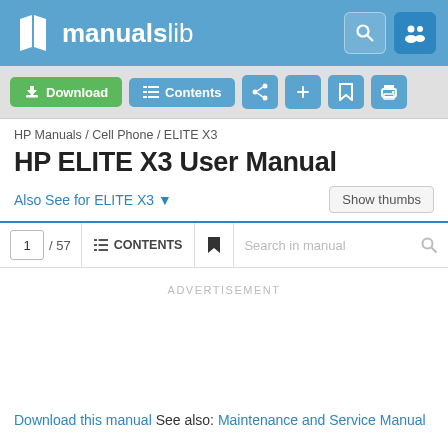manualslib
Download | Contents
HP Manuals / Cell Phone / ELITE X3
HP ELITE X3 User Manual
Also See for ELITE X3 ▾
1 / 57 | CONTENTS | Search in manual
ADVERTISEMENT
Download this manual See also: Maintenance and Service Manual